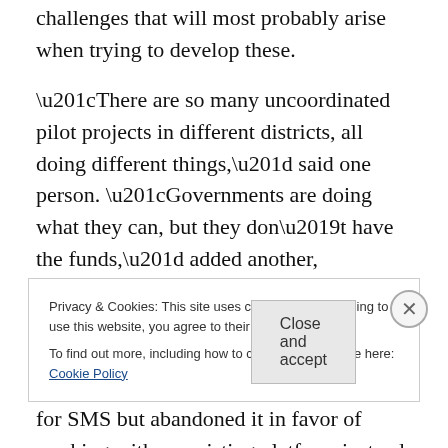challenges that will most probably arise when trying to develop these. “There are so many uncoordinated pilot projects in different districts, all doing different things,” said one person. “Governments are doing what they can, but they don’t have the funds,” added another, “and that’s why there are so many small pilots happening everywhere.” One company noted that it had started developing a platform for SMS but abandoned it in favor of working with an existing platform instead. “Can we create standards and protocols to tie some of this work together? There isn’t
Privacy & Cookies: This site uses cookies. By continuing to use this website, you agree to their use.
To find out more, including how to control cookies, see here: Cookie Policy
Close and accept